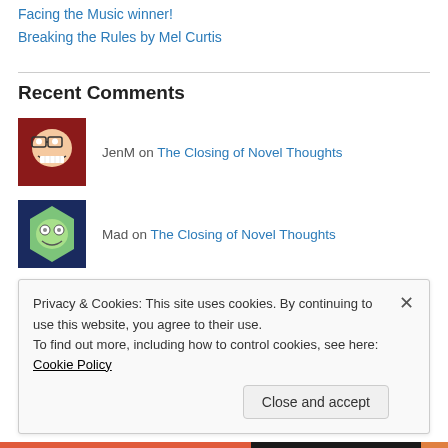Facing the Music winner!
Breaking the Rules by Mel Curtis
Recent Comments
JenM on The Closing of Novel Thoughts
Mad on The Closing of Novel Thoughts
flchen1 on The Closing of Novel Thoughts
Privacy & Cookies: This site uses cookies. By continuing to use this website, you agree to their use. To find out more, including how to control cookies, see here: Cookie Policy
Close and accept